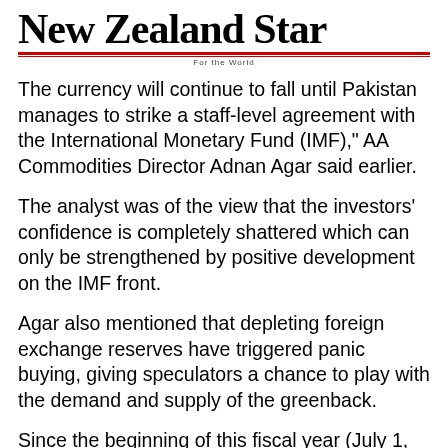New Zealand Star
For the World
The currency will continue to fall until Pakistan manages to strike a staff-level agreement with the International Monetary Fund (IMF)," AA Commodities Director Adnan Agar said earlier.
The analyst was of the view that the investors' confidence is completely shattered which can only be strengthened by positive development on the IMF front.
Agar also mentioned that depleting foreign exchange reserves have triggered panic buying, giving speculators a chance to play with the demand and supply of the greenback.
Since the beginning of this fiscal year (July 1, 2021) to date, the rupee has collectively dropped by over 30 percent (approx. Rs 72), according to the